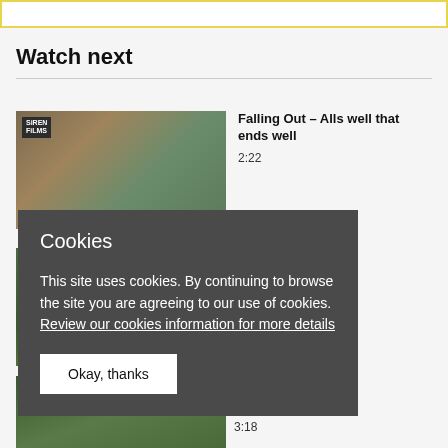[Figure (screenshot): Top bar with yellow border, cropped at top]
Watch next
[Figure (screenshot): Thumbnail of video: Falling Out - Alls well that ends well, showing person near brick wall with SIREN FILMS logo]
Falling Out - Alls well that ends well
2:22
[Figure (screenshot): Second video thumbnail showing outdoor scene, partially visible]
It will end in
[Figure (screenshot): Third video thumbnail showing outdoor grass scene, partially visible]
Adult
3:18
[Figure (screenshot): Cookie consent overlay dialog with dark gray background]
Cookies
This site uses cookies. By continuing to browse the site you are agreeing to our use of cookies. Review our cookies information for more details
Okay, thanks